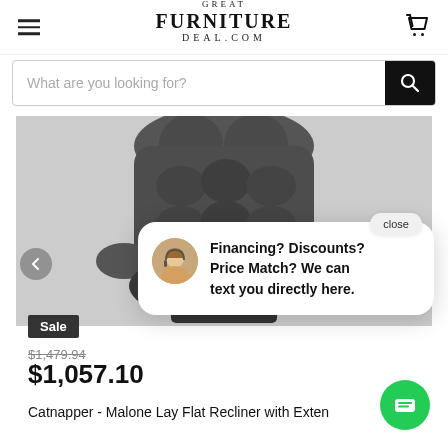Great Furniture Deal.com
What are you looking for?
[Figure (photo): Dark gray tufted recliner chair, top portion visible against light gray background]
close
Financing? Discounts? Price Match? We can text you directly here.
Sale
$1,479.94
$1,057.10
Catnapper - Malone Lay Flat Recliner with Exten